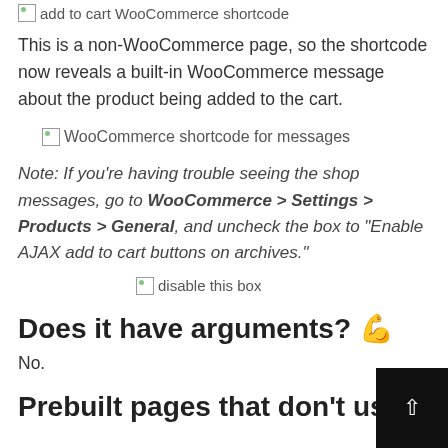[Figure (screenshot): Broken image placeholder with alt text 'add to cart WooCommerce shortcode']
This is a non-WooCommerce page, so the shortcode now reveals a built-in WooCommerce message about the product being added to the cart.
[Figure (screenshot): Broken image placeholder with alt text 'WooCommerce shortcode for messages']
Note: If you're having trouble seeing the shop messages, go to WooCommerce > Settings > Products > General, and uncheck the box to "Enable AJAX add to cart buttons on archives."
[Figure (screenshot): Broken image placeholder with alt text 'disable this box']
Does it have arguments? 💪
No.
Prebuilt pages that don't use a